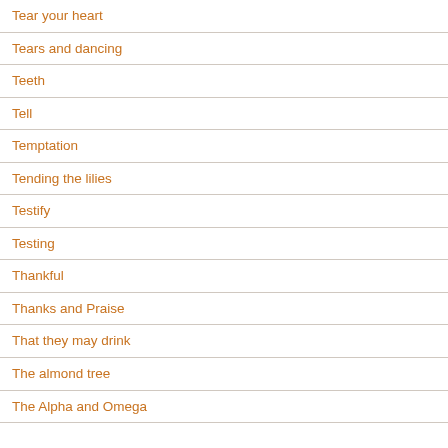Tear your heart
Tears and dancing
Teeth
Tell
Temptation
Tending the lilies
Testify
Testing
Thankful
Thanks and Praise
That they may drink
The almond tree
The Alpha and Omega